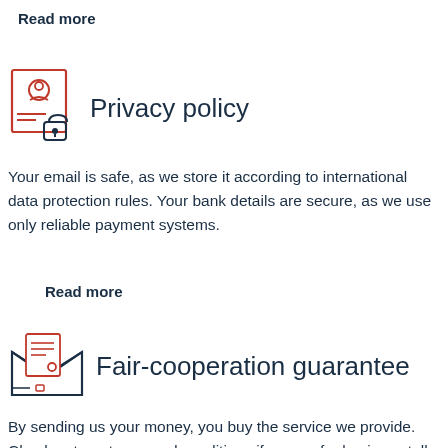Read more
[Figure (illustration): Privacy policy icon: a document with a person silhouette and a padlock]
Privacy policy
Your email is safe, as we store it according to international data protection rules. Your bank details are secure, as we use only reliable payment systems.
Read more
[Figure (illustration): Fair-cooperation guarantee icon: an open envelope with a document and a red circle]
Fair-cooperation guarantee
By sending us your money, you buy the service we provide. Check out our terms and conditions if you prefer business talks to be laid out in official language.